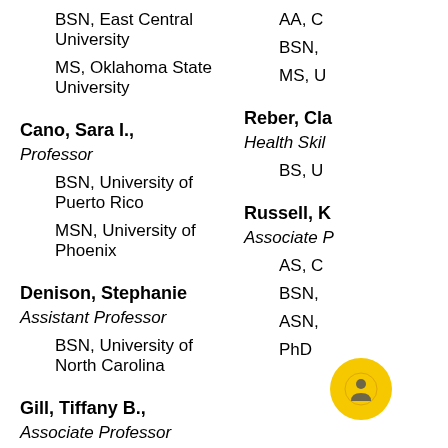BSN, East Central University
MS, Oklahoma State University
Cano, Sara I.,
Professor
BSN, University of Puerto Rico
MSN, University of Phoenix
Denison, Stephanie
Assistant Professor
BSN, University of North Carolina
Gill, Tiffany B.,
Associate Professor
AA, C…
BSN,…
MS, U…
Reber, Cla…
Health Skil…
BS, U…
Russell, K…
Associate P…
AS, C…
BSN,…
ASN,…
PhD…